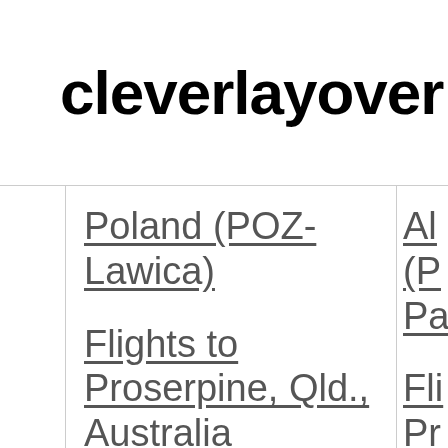cleverlayover
Poland (POZ-Lawica)
Flights to Proserpine, Qld., Australia